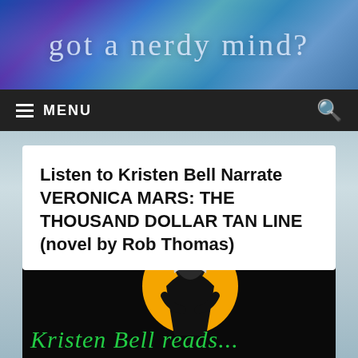got a nerdy mind?
Listen to Kristen Bell Narrate VERONICA MARS: THE THOUSAND DOLLAR TAN LINE (novel by Rob Thomas)
[Figure (illustration): Book cover illustration: black background with an orange circle, green silhouette of a woman (Kristen Bell), and green italic text reading 'Kristen Bell reads...']